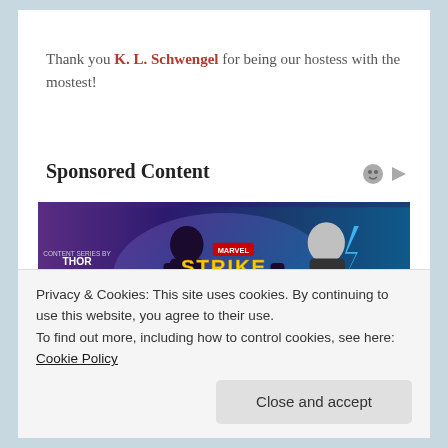Thank you K. L. Schwengel for being our hostess with the mostest!
Sponsored Content
[Figure (illustration): Marvel Strike Force banner advertisement featuring Thor: Love and Thunder co-branding with two superhero characters on a purple/blue gradient background]
Privacy & Cookies: This site uses cookies. By continuing to use this website, you agree to their use.
To find out more, including how to control cookies, see here: Cookie Policy
Close and accept